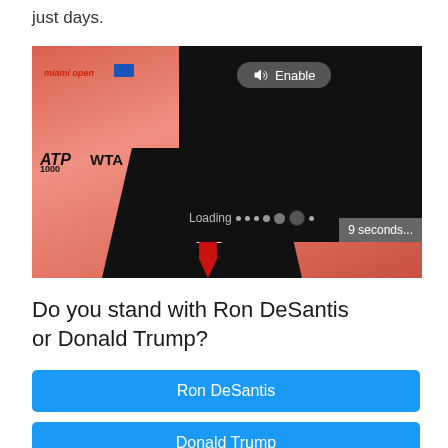just days.
[Figure (screenshot): Video player screenshot showing a man in a black suit with a red tie at a Miami Open event backdrop. A black video overlay panel shows an 'Enable' audio button and a 'Loading' indicator with dots. A '9 seconds...' countdown badge is visible in the lower right of the video overlay.]
Do you stand with Ron DeSantis or Donald Trump?
Ron DeSantis
Donald Trump